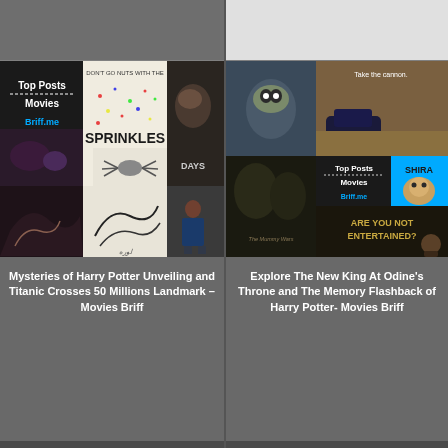[Figure (screenshot): Left card: collage of movie-related images including Top Posts / Movies / Briff.me panel, Sprinkles animation still, Days movie still, dragon/creature illustration, and a presenter, for a Movies Briff article]
Mysteries of Harry Potter Unveiling and Titanic Crosses 50 Millions Landmark – Movies Briff
[Figure (screenshot): Right card: collage of movie-related images including animated characters, car scene with 'Take the cannon', lion 'SHIRA', Top Posts / Movies / Briff.me panel, The Mummy Wars, 'ARE YOU NOT ENTERTAINED?' text, and a child]
Explore The New King At Odine's Throne and The Memory Flashback of Harry Potter- Movies Briff